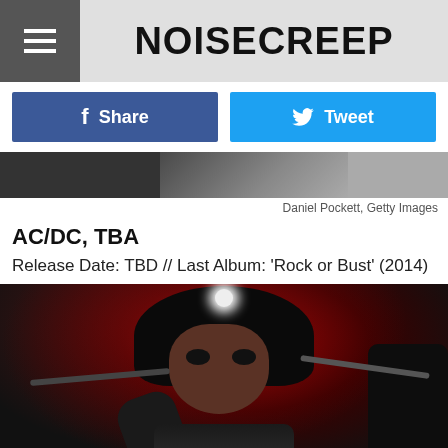NOISECREEP
Share
Tweet
[Figure (photo): Partial concert photo showing performers on stage, cropped strip]
Daniel Pockett, Getty Images
AC/DC, TBA
Release Date: TBD // Last Album: 'Rock or Bust' (2014)
[Figure (photo): Close-up photo of a rock performer with long dark hair and dramatic makeup, wearing studded leather outfit, on stage with red lighting]